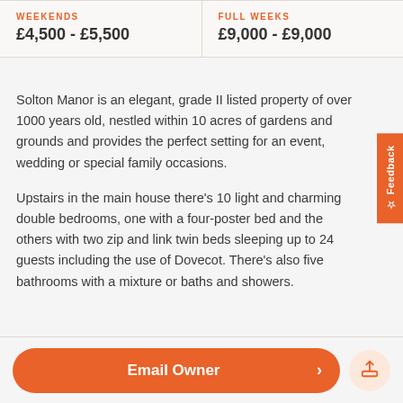| WEEKENDS | FULL WEEKS |
| --- | --- |
| £4,500 - £5,500 | £9,000 - £9,000 |
Solton Manor is an elegant, grade II listed property of over 1000 years old, nestled within 10 acres of gardens and grounds and provides the perfect setting for an event, wedding or special family occasions.
Upstairs in the main house there's 10 light and charming double bedrooms, one with a four-poster bed and the others with two zip and link twin beds sleeping up to 24 guests including the use of Dovecot. There's also five bathrooms with a mixture or baths and showers.
Email Owner